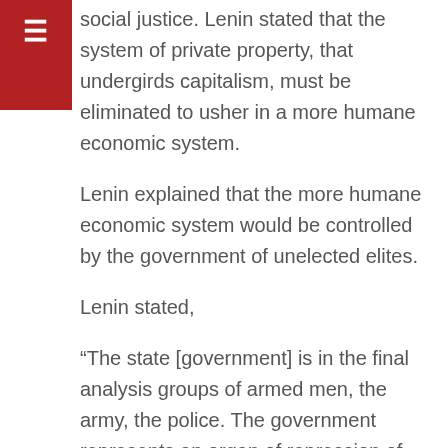social justice. Lenin stated that the system of private property, that undergirds capitalism, must be eliminated to usher in a more humane economic system.
Lenin explained that the more humane economic system would be controlled by the government of unelected elites.
Lenin stated,
“The state [government] is in the final analysis groups of armed men, the army, the police. The government represents an organ of repression of one class over another.”
This armed, repressive, one-party state is the promise of Democrat Marxists, where Marxist elites own and control all elements of political